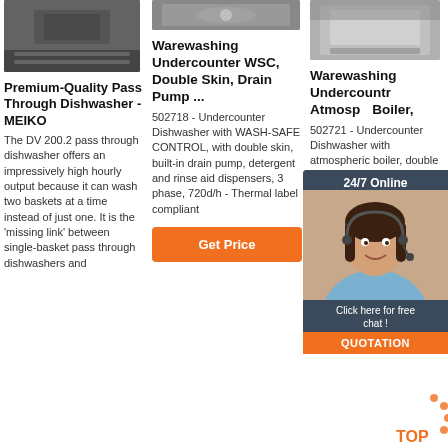[Figure (photo): Dark stainless steel pass-through dishwasher from above, partial view]
Premium-Quality Pass Through Dishwasher - MEIKO
The DV 200.2 pass through dishwasher offers an impressively high hourly output because it can wash two baskets at a time instead of just one. It is the 'missing link' between single-basket pass through dishwashers and
[Figure (photo): Undercounter dishwasher with dishes visible, partial top view]
Warewashing Undercounter WSC, Double Skin, Drain Pump ...
502718 - Undercounter Dishwasher with WASH-SAFE CONTROL, with double skin, built-in drain pump, detergent and rinse aid dispensers, 3 phase, 720d/h - Thermal label compliant
[Figure (photo): Get Price button for middle product]
[Figure (photo): Silver undercounter dishwasher, partial side view]
Warewashing Undercounter Atmospheric Boiler,
502721 - Undercounter Dishwasher with atmospheric boiler, double skin, built-in drain pump, detergent and rinse aid dispensers, 3 phase, 720d/h - Wine line
[Figure (photo): 24/7 Online chat widget with female agent and quotation CTA]
[Figure (other): TOP scroll-to-top button with orange dots]